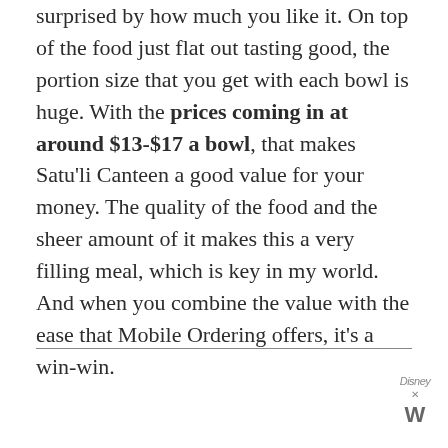surprised by how much you like it. On top of the food just flat out tasting good, the portion size that you get with each bowl is huge. With the prices coming in at around $13-$17 a bowl, that makes Satu'li Canteen a good value for your money. The quality of the food and the sheer amount of it makes this a very filling meal, which is key in my world. And when you combine the value with the ease that Mobile Ordering offers, it's a win-win.
[Figure (other): Advertisement banner with photo of a person in a beanie hat, a teal background with a quote 'not know how to be sufficient on my own.', Dave Thomas Foundation for Adoption logo, and close buttons.]